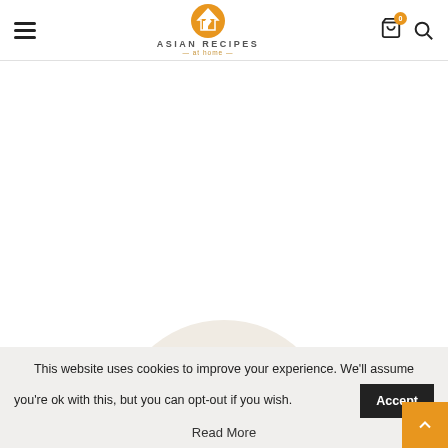ASIAN RECIPES at home — navigation header with hamburger menu, logo, cart icon (badge: 0), and search icon
[Figure (photo): Partial circular plate with green leafy salad with orange carrot shreds, sesame seeds, viewed from above on a white background — only top portion visible at bottom of page]
This website uses cookies to improve your experience. We'll assume you're ok with this, but you can opt-out if you wish.
Accept
Read More